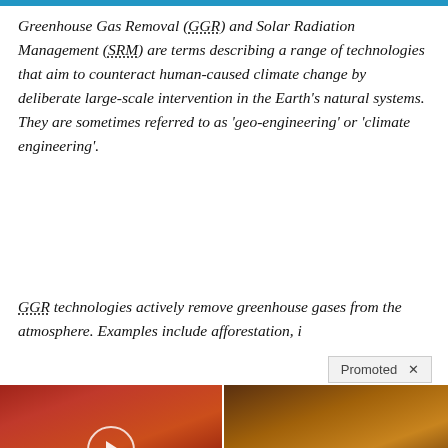Greenhouse Gas Removal (GGR) and Solar Radiation Management (SRM) are terms describing a range of technologies that aim to counteract human-caused climate change by deliberate large-scale intervention in the Earth's natural systems. They are sometimes referred to as 'geo-engineering' or 'climate engineering'.
GGR technologies actively remove greenhouse gases from the atmosphere. Examples include afforestation, i
[Figure (photo): Advertisement image showing a close-up of an open mouth with tongue out, with a play button overlay and a blue circular object. Caption: 4 Worst Blood Pressure Drugs (Avoid At All Costs) with fire icon and 60,012 views.]
[Figure (photo): Advertisement image showing a fitness person and spices/powder. Caption: A Teaspoon On An Empty Stomach Burns Fat Like Crazy! with fire icon and 124,198 views.]